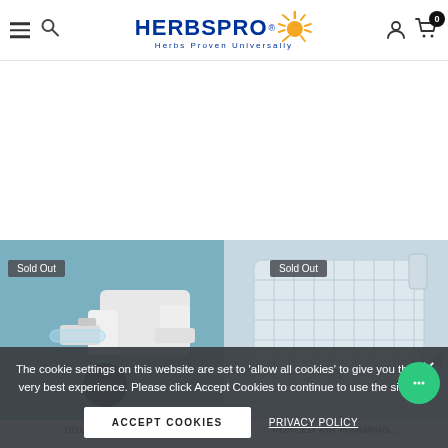HERBSPRO® — Herbs Proven Universally
[Figure (screenshot): Left product card showing a medical double swivel connector device on teal background with 'Sold Out' badge]
[Figure (screenshot): Right product card showing a forced air warming blanket on light blue/grey background with 'Sold Out' badge]
The cookie settings on this website are set to 'allow all cookies' to give you the very best experience. Please click Accept Cookies to continue to use the site.
ACCEPT COOKIES
PRIVACY POLICY
DOUBLE SWIVEL...
FORCED AIR WARMING...